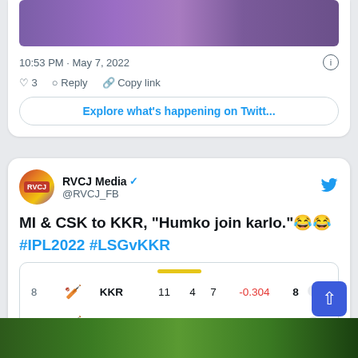[Figure (screenshot): Partial tweet showing a purple cricket match photo strip, timestamp 10:53 PM May 7, 2022, like count 3, Reply and Copy link actions, and an Explore button]
[Figure (screenshot): Tweet by RVCJ Media @RVCJ_FB saying: MI & CSK to KKR, Humko join karlo. 😂😂 #IPL2022 #LSGvKKR with embedded IPL points table showing positions 8 (KKR: 11 4 7 -0.304 8), 9 (CSK: 10 3 7 -0.431 6), 10 (MI: 10 2 8 -0.725 4)]
| Pos |  | Team | P | W | L | NRR | Pts |  |
| --- | --- | --- | --- | --- | --- | --- | --- | --- |
| 8 | 🏏 | KKR | 11 | 4 | 7 | -0.304 | 8 |  |
| 9 | 🏏 | CSK | 10 | 3 | 7 | -0.431 | 6 |  |
| 10 | 🏏 | MI | 10 | 2 | 8 | -0.725 | 4 |  |